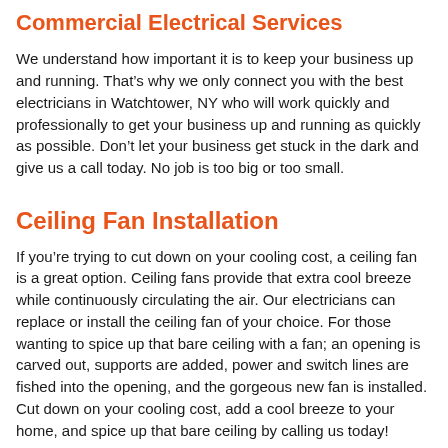Commercial Electrical Services
We understand how important it is to keep your business up and running. That’s why we only connect you with the best electricians in Watchtower, NY who will work quickly and professionally to get your business up and running as quickly as possible. Don’t let your business get stuck in the dark and give us a call today. No job is too big or too small.
Ceiling Fan Installation
If you’re trying to cut down on your cooling cost, a ceiling fan is a great option. Ceiling fans provide that extra cool breeze while continuously circulating the air. Our electricians can replace or install the ceiling fan of your choice. For those wanting to spice up that bare ceiling with a fan; an opening is carved out, supports are added, power and switch lines are fished into the opening, and the gorgeous new fan is installed. Cut down on your cooling cost, add a cool breeze to your home, and spice up that bare ceiling by calling us today!
New outlet installation